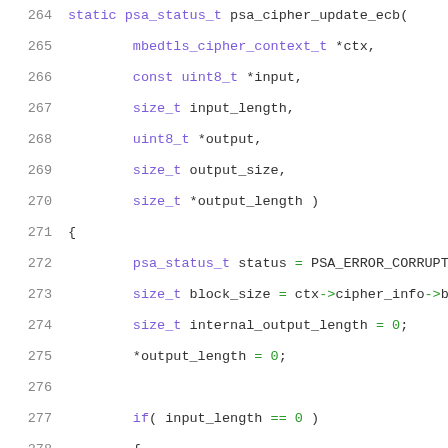[Figure (screenshot): Source code listing in C showing function psa_cipher_update_ecb with line numbers 264-285, featuring syntax highlighting with purple for types/keywords, green for operators/numbers, red for comments, and dark for identifiers.]